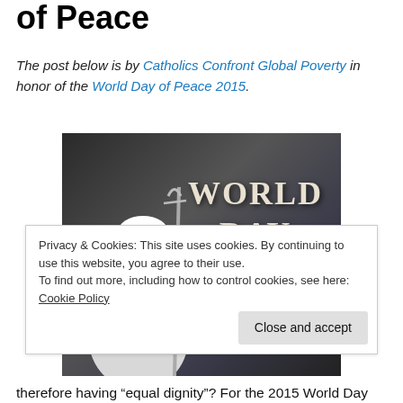of Peace
The post below is by Catholics Confront Global Poverty in honor of the World Day of Peace 2015.
[Figure (photo): Photo showing a pope in white vestments holding a pastoral staff, with text overlay reading WORLD DAY OF PEACE on a dark background]
Privacy & Cookies: This site uses cookies. By continuing to use this website, you agree to their use.
To find out more, including how to control cookies, see here: Cookie Policy
therefore having “equal dignity”? For the 2015 World Day